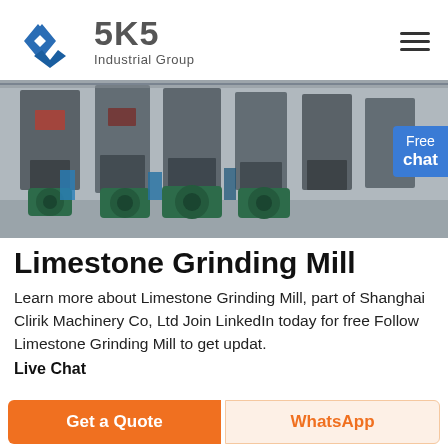[Figure (logo): SKS Industrial Group logo with stylized blue S chevron icon and gray SKS text with 'Industrial Group' subtitle]
[Figure (photo): Industrial grinding mill machines lined up in a factory/warehouse setting, large gray metal frames with green motors visible]
Limestone Grinding Mill
Learn more about Limestone Grinding Mill, part of Shanghai Clirik Machinery Co, Ltd Join LinkedIn today for free Follow Limestone Grinding Mill to get updat.
Live Chat
Get a Quote
WhatsApp